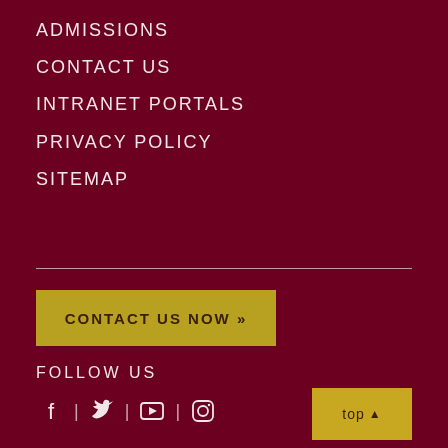ADMISSIONS
CONTACT US
INTRANET PORTALS
PRIVACY POLICY
SITEMAP
CONTACT US NOW »
FOLLOW US
[Figure (other): Social media icons: Facebook, Twitter, YouTube, Instagram]
top ▲